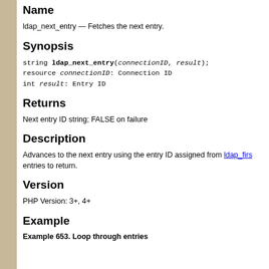Name
ldap_next_entry — Fetches the next entry.
Synopsis
Returns
Next entry ID string; FALSE on failure
Description
Advances to the next entry using the entry ID assigned from ldap_firs entries to return.
Version
PHP Version: 3+, 4+
Example
Example 653. Loop through entries